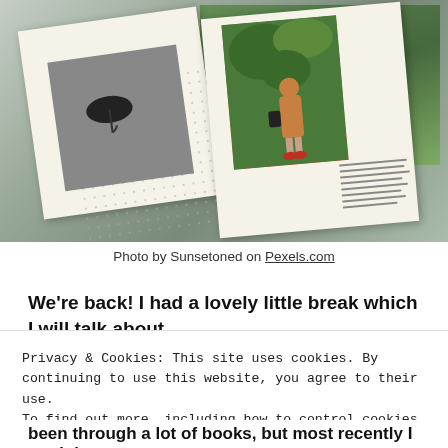[Figure (photo): Open book photographed from above showing two pages: left page has a black-and-white photograph of a black umbrella on a textured grey surface, right page has a color photograph of a person in an orange coat with red shoes standing among green plants, with Chinese text in the bottom right corner of the right page.]
Photo by Sunsetoned on Pexels.com
We’re back! I had a lovely little break which I will talk about
Privacy & Cookies: This site uses cookies. By continuing to use this website, you agree to their use.
To find out more, including how to control cookies, see here: Cookie Policy
Close and accept
been through a lot of books, but most recently I read the